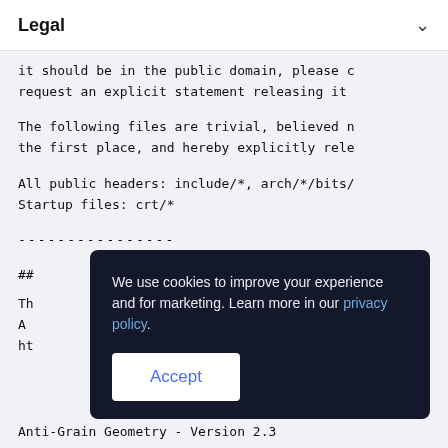Legal ∨
it should be in the public domain, please contact us to request an explicit statement releasing it
The following files are trivial, believed not copyrightable in the first place, and hereby explicitly released to the public domain:
All public headers: include/*, arch/*/bits/
Startup files: crt/*
----------------
##
Th
A
ht
[Figure (screenshot): Cookie consent banner with text 'We use cookies to improve your experience and for marketing. Learn more in our privacy policy.' and an Accept button]
Anti-Grain Geometry - Version 2.3